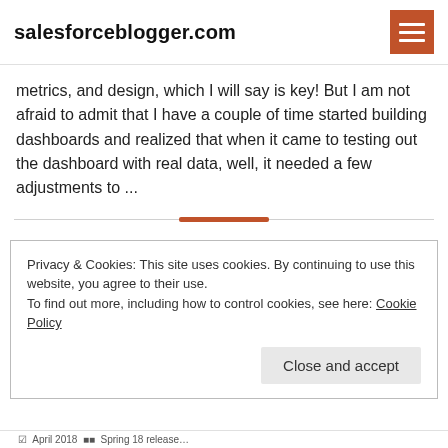salesforceblogger.com
metrics, and design, which I will say is key! But I am not afraid to admit that I have a couple of time started building dashboards and realized that when it came to testing out the dashboard with real data, well, it needed a few adjustments to ...
Privacy & Cookies: This site uses cookies. By continuing to use this website, you agree to their use.
To find out more, including how to control cookies, see here: Cookie Policy
Close and accept